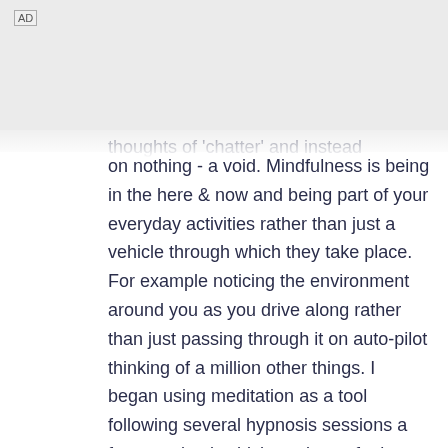AD
thoughts of 'chatter' and instead attempting to focus on nothing - a void. Mindfulness is being in the here & now and being part of your everyday activities rather than just a vehicle through which they take place. For example noticing the environment around you as you drive along rather than just passing through it on auto-pilot thinking of a million other things. I began using meditation as a tool following several hypnosis sessions a few year back which made me feel clearer, more relaxed, more focussed. The technique was similar, however instead of somebody helping you into that state of mind, you need to get there yourself often using the breath as a focal point. Sounds easy right? Well again it requires much practice when for x